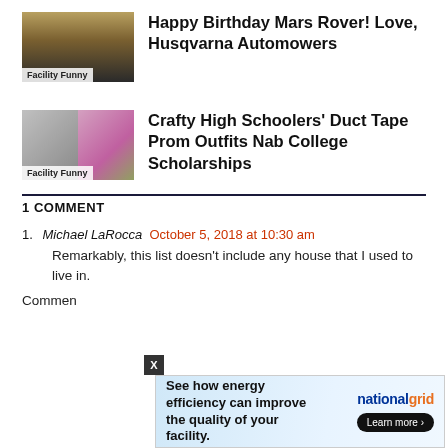[Figure (photo): Thumbnail image with sunset/landscape background and text overlay 'From robot to robot - Happy Birthday']
Happy Birthday Mars Rover! Love, Husqvarna Automowers
[Figure (photo): Two thumbnail images side by side showing people in formal/prom attire]
Crafty High Schoolers' Duct Tape Prom Outfits Nab College Scholarships
1 COMMENT
Michael LaRocca October 5, 2018 at 10:30 am
Remarkably, this list doesn't include any house that I used to live in.
Commen
[Figure (infographic): National Grid advertisement: 'See how energy efficiency can improve the quality of your facility. Learn more.']